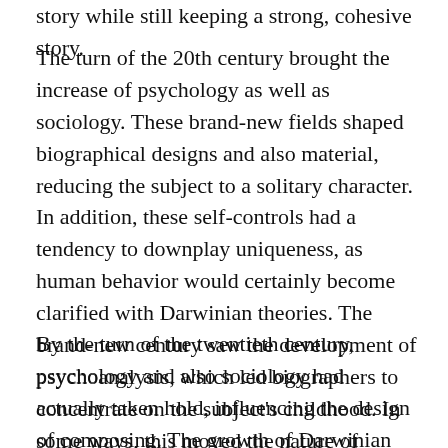story while still keeping a strong, cohesive story.
The turn of the 20th century brought the increase of psychology as well as sociology. These brand-new fields shaped biographical designs and also material, reducing the subject to a solitary character. In addition, these self-controls had a tendency to downplay uniqueness, as human behavior would certainly become clarified with Darwinian theories. The brand-new century saw the development of psychoanalysis, which led biographers to concentrate on the subject's childhood. In some ways, this moved the nature of biography, making it a kind of therapy for individuals.
By the turn of the twentieth century, psychology and also sociology had actually taken hold, influencing the design of composing. The growth of Darwinian theories, as an example, would at some point